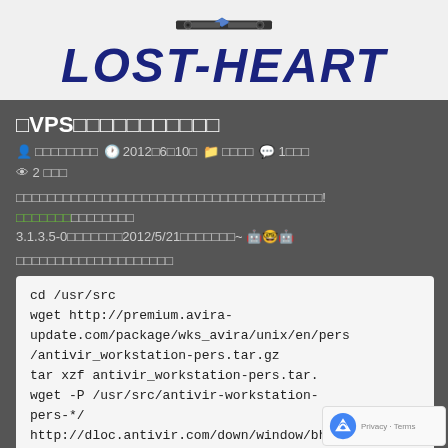[Figure (logo): LOST-HEART website logo with robotic/gear header graphic and bold dark blue italic text 'LOST-HEART' on light background]
□VPS□□□□□□□□□□□
□□□□□□□□  □  2012□6□10□  □□□□  1□□□  2 □□□
□□□□□□□□□□□□□□□□□□□□□□□□□□□□□□□□□□□□□□! □□□□□□□□□□□□□□□ 3.1.3.5-0□□□□□□□2012/5/21□□□□□□□~ 🤖🤓🤖
□□□□□□□□□□□□□□□□□□□□
cd /usr/src
wget http://premium.avira-update.com/package/wks_avira/unix/en/pers/antivir_workstation-pers.tar.gz
tar xzf antivir_workstation-pers.tar.
wget -P /usr/src/antivir-workstation-pers-*/
http://dloc.antivir.com/down/window/bhed